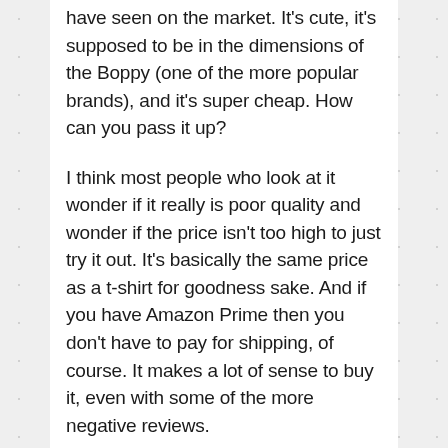have seen on the market. It's cute, it's supposed to be in the dimensions of the Boppy (one of the more popular brands), and it's super cheap. How can you pass it up?
I think most people who look at it wonder if it really is poor quality and wonder if the price isn't too high to just try it out. It's basically the same price as a t-shirt for goodness sake. And if you have Amazon Prime then you don't have to pay for shipping, of course. It makes a lot of sense to buy it, even with some of the more negative reviews.